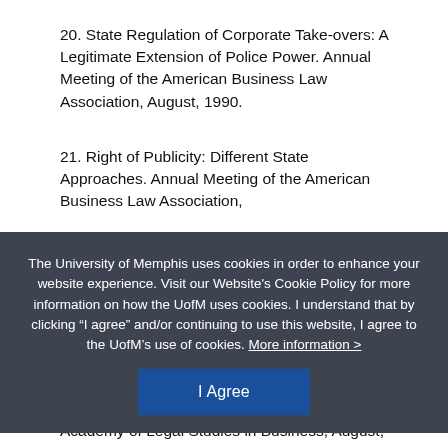20. State Regulation of Corporate Take-overs: A Legitimate Extension of Police Power. Annual Meeting of the American Business Law Association, August, 1990.
21. Right of Publicity: Different State Approaches. Annual Meeting of the American Business Law Association,
The University of Memphis uses cookies in order to enhance your website experience. Visit our Website's Cookie Policy for more information on how the UofM uses cookies. I understand that by clicking “I agree” and/or continuing to use this website, I agree to the UofM’s use of cookies. More information >
24. Property Rights in Privacy and Publicity in the State of Tennessee, Annual Meeting of the Academy of Legal Studies in Business, August, 1996.